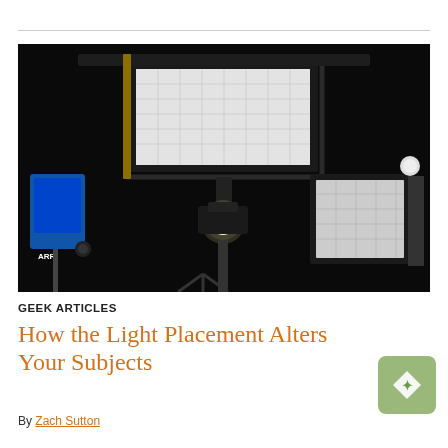[Figure (photo): Photography studio lighting equipment setup against a dark background. Shows multiple lights including a large rectangular LED panel at top, a fresnel/spot light in the center, a smaller panel light on the right, and an ARRI light on the left. Dark/black background with professional lighting gear on stands.]
GEEK ARTICLES
How the Light Placement Alters Your Subjects
By Zach Sutton